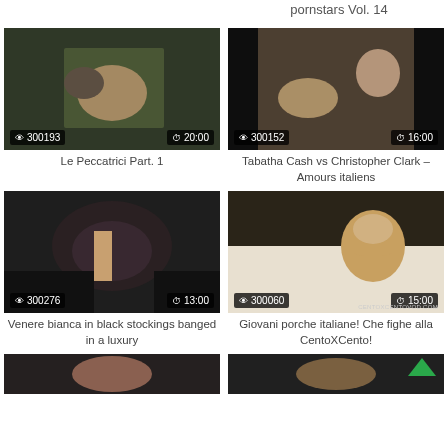pornstars Vol. 14
[Figure (photo): Video thumbnail - outdoor scene]
Le Peccatrici Part. 1
[Figure (photo): Video thumbnail - indoor scene]
Tabatha Cash vs Christopher Clark – Amours italiens
[Figure (photo): Video thumbnail - close up scene]
Venere bianca in black stockings banged in a luxury
[Figure (photo): Video thumbnail - masked woman scene]
Giovani porche italiane! Che fighe alla CentoXCento!
[Figure (photo): Video thumbnail - bottom row left]
[Figure (photo): Video thumbnail - bottom row right]